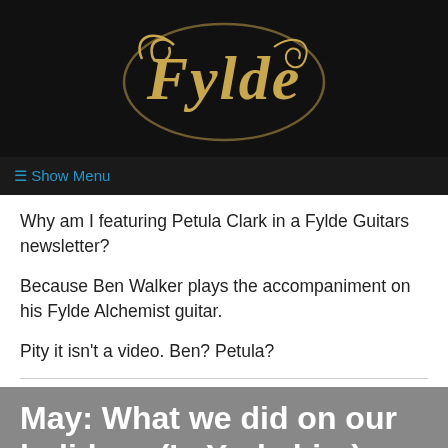[Figure (logo): Fylde Guitars logo in gold script on black background]
☰ Show Menu
Why am I featuring Petula Clark in a Fylde Guitars newsletter?
Because Ben Walker plays the accompaniment on his Fylde Alchemist guitar.
Pity it isn't a video. Ben? Petula?
May: What we did on our holidays (In Yorkshire)